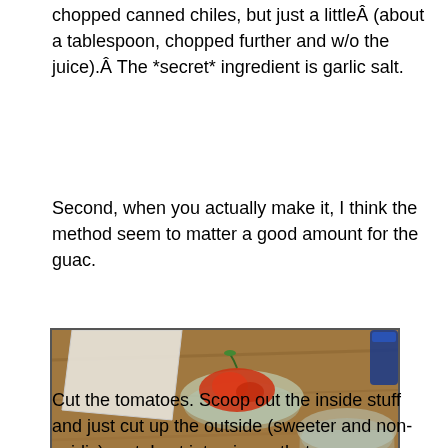chopped canned chiles, but just a littleÂ (about a tablespoon, chopped further and w/o the juice).Â The *secret* ingredient is garlic salt.
Second, when you actually make it, I think the method seem to matter a good amount for the guac.
[Figure (photo): Photo of diced tomatoes on a wooden cutting board with a knife, glass bowls with tomatoes in background, and a paper towel.]
Cut the tomatoes. Scoop out the inside stuff and just cut up the outside (sweeter and non-acidic) part. I cut into pieces that are